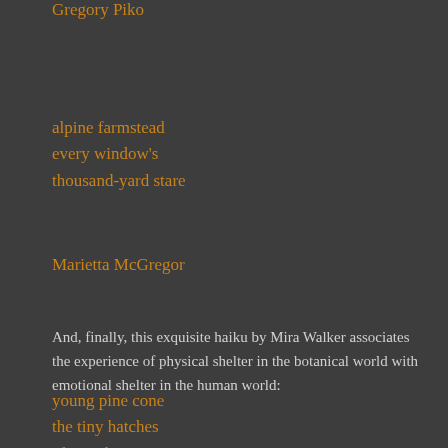Gregory Piko
alpine farmstead
every window's
thousand-yard stare
Marietta McGregor
And, finally, this exquisite haiku by Mira Walker associates the experience of physical shelter in the botanical world with emotional shelter in the human world:
young pine cone
the tiny hatches
I keep shut